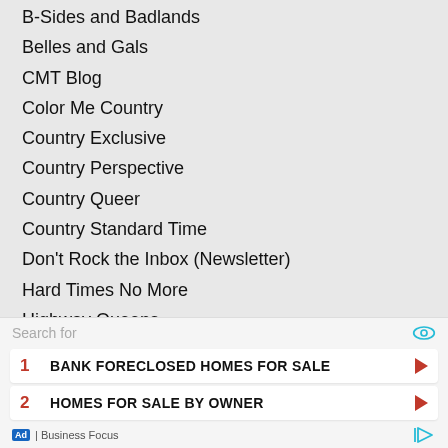B-Sides and Badlands
Belles and Gals
CMT Blog
Color Me Country
Country Exclusive
Country Perspective
Country Queer
Country Standard Time
Don't Rock the Inbox (Newsletter)
Hard Times No More
Highway Queens
Kyle's Korner
Music & More
My Kind of Country
Shore2Shore Country
That Nashville Sound
Search for
1  BANK FORECLOSED HOMES FOR SALE
2  HOMES FOR SALE BY OWNER
Ad | Business Focus